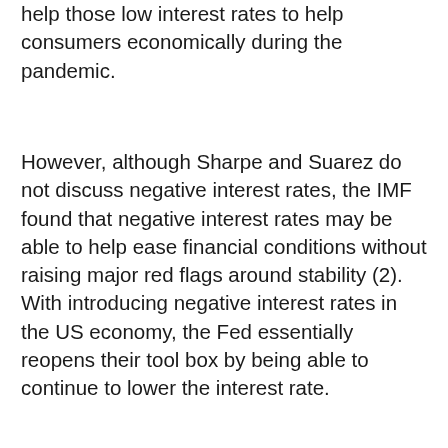help those low interest rates to help consumers economically during the pandemic.
However, although Sharpe and Suarez do not discuss negative interest rates, the IMF found that negative interest rates may be able to help ease financial conditions without raising major red flags around stability (2). With introducing negative interest rates in the US economy, the Fed essentially reopens their tool box by being able to continue to lower the interest rate.